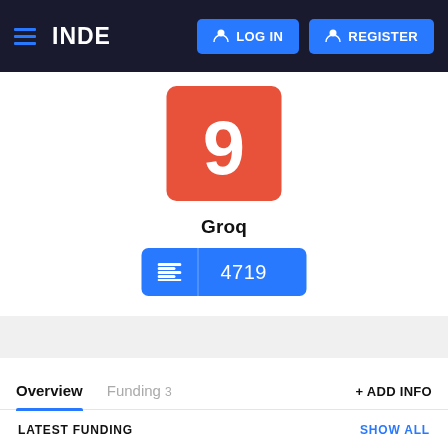INDE  LOG IN  REGISTER
[Figure (logo): Groq company logo: orange/red square with white number 9]
Groq
4719
Overview
Funding 3
+ ADD INFO
LATEST FUNDING
SHOW ALL